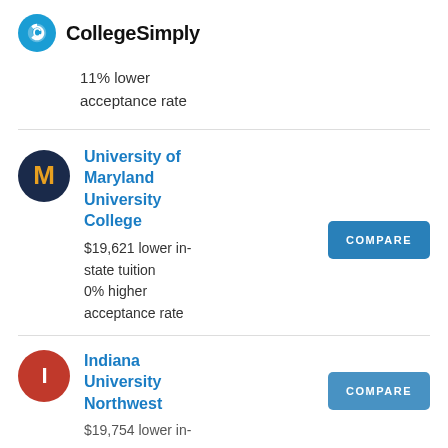CollegeSimply
11% lower acceptance rate
University of Maryland University College
$19,621 lower in-state tuition
0% higher acceptance rate
Indiana University Northwest
$19,754 lower in-state tuition